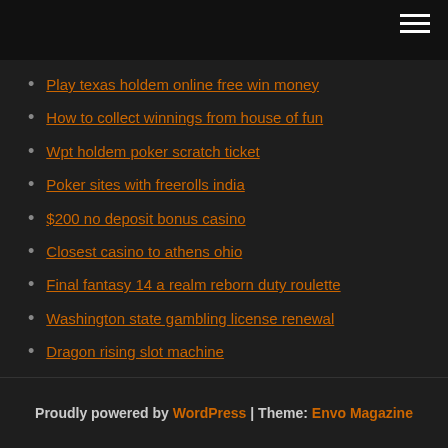[hamburger menu icon]
Play texas holdem online free win money
How to collect winnings from house of fun
Wpt holdem poker scratch ticket
Poker sites with freerolls india
$200 no deposit bonus casino
Closest casino to athens ohio
Final fantasy 14 a realm reborn duty roulette
Washington state gambling license renewal
Dragon rising slot machine
Online casino real money app
Gta online casino leak
Proudly powered by WordPress | Theme: Envo Magazine